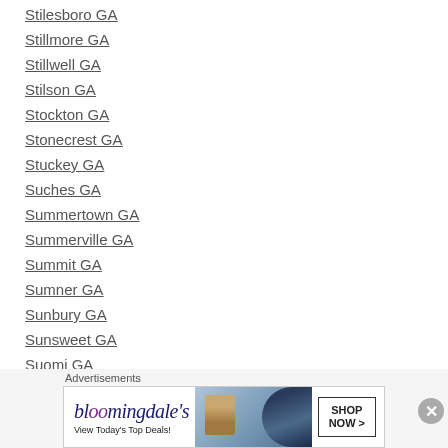Stilesboro GA
Stillmore GA
Stillwell GA
Stilson GA
Stockton GA
Stonecrest GA
Stuckey GA
Suches GA
Summertown GA
Summerville GA
Summit GA
Sumner GA
Sunbury GA
Sunsweet GA
Suomi GA
Surrency GA
Advertisements
[Figure (other): Bloomingdale's advertisement banner: 'View Today's Top Deals!' with SHOP NOW button and woman in hat image]